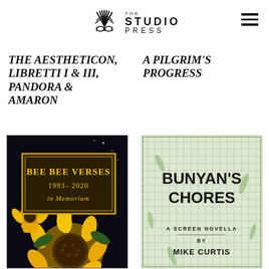The Studio Press
THE AESTHETICON, LIBRETTI I & III, PANDORA & AMARON
A PILGRIM'S PROGRESS
[Figure (illustration): Book cover: Bee Bee Verses 1993-2020 In Memoriam, dark background with sunflower illustration and decorative gold text in a framed box]
[Figure (illustration): Book cover: Bunyan's Chores - A Screen Novella by Mike Curtis, light green crosshatch background with bold black title text]